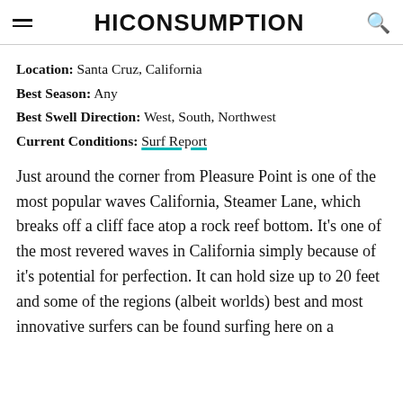HICONSUMPTION
Location: Santa Cruz, California
Best Season: Any
Best Swell Direction: West, South, Northwest
Current Conditions: Surf Report
Just around the corner from Pleasure Point is one of the most popular waves California, Steamer Lane, which breaks off a cliff face atop a rock reef bottom. It’s one of the most revered waves in California simply because of it’s potential for perfection. It can hold size up to 20 feet and some of the regions (albeit worlds) best and most innovative surfers can be found surfing here on a